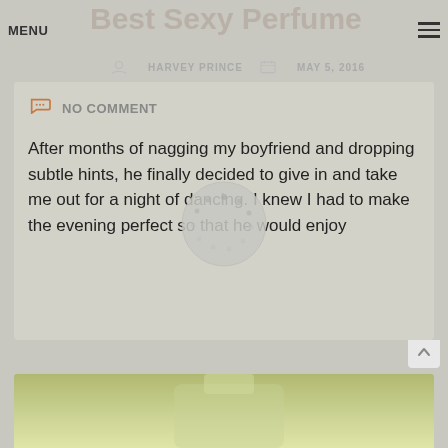MENU | Best Sexy Perfume
HARVEY PRINCE   MAY 5, 2016
NO COMMENT
After months of nagging my boyfriend and dropping subtle hints, he finally decided to give in and take me out for a night of dancing. I knew I had to make the evening perfect so that he would enjoy
Read More
[Figure (other): Partial view of a perfume bottle at the bottom of the page]